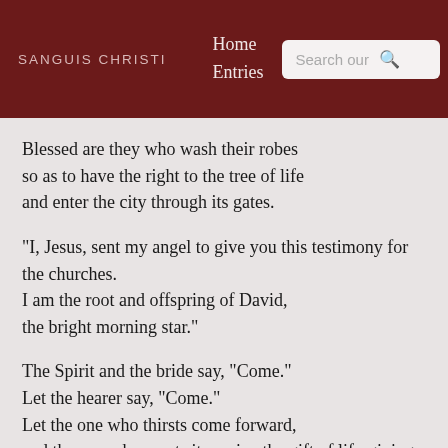SANGUIS CHRISTI   Home   Entries   Search our
Blessed are they who wash their robes
so as to have the right to the tree of life
and enter the city through its gates.
"I, Jesus, sent my angel to give you this testimony for the churches.
I am the root and offspring of David,
the bright morning star."
The Spirit and the bride say, "Come."
Let the hearer say, "Come."
Let the one who thirsts come forward,
and the one who wants it receive the gift of life-giving water.
The one who gives this testimony says, "Yes, I am coming